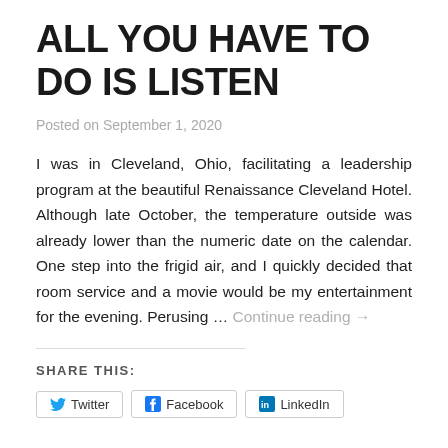ALL YOU HAVE TO DO IS LISTEN
Posted on September 1, 2020
I was in Cleveland, Ohio, facilitating a leadership program at the beautiful Renaissance Cleveland Hotel. Although late October, the temperature outside was already lower than the numeric date on the calendar. One step into the frigid air, and I quickly decided that room service and a movie would be my entertainment for the evening. Perusing … Continue reading →
SHARE THIS:
Twitter   Facebook   LinkedIn